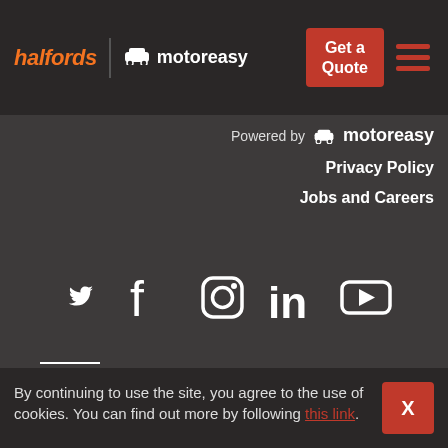[Figure (logo): Halfords | motoreasy header logo with navigation buttons including Get a Quote and hamburger menu]
Powered by 🚗 motoreasy
Privacy Policy
Jobs and Careers
[Figure (infographic): Social media icons row: Twitter, Facebook, Instagram, LinkedIn, YouTube]
[Figure (logo): Partner logos: lion insurance logo, IM logo, and partially visible logo]
By continuing to use the site, you agree to the use of cookies. You can find out more by following this link.